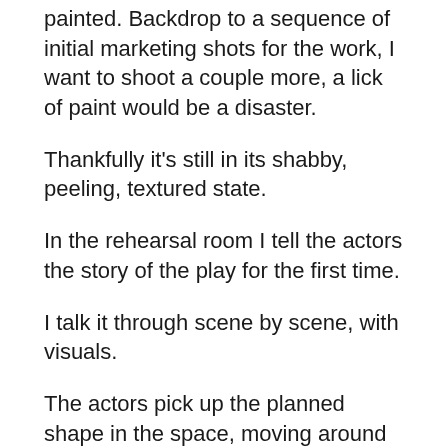painted.  Backdrop to a sequence of initial marketing shots for the work, I want to shoot a couple more, a lick of paint would be a disaster.
Thankfully it's still in its shabby, peeling,  textured state.
In the rehearsal room I tell the actors the story of the play for the first time.
I talk it through scene by scene, with visuals.
The actors pick up the planned shape in the space, moving around the room, one actor communicating plot per scene, Alice Rogers nudging creative team and participants around the large spaces we'll be